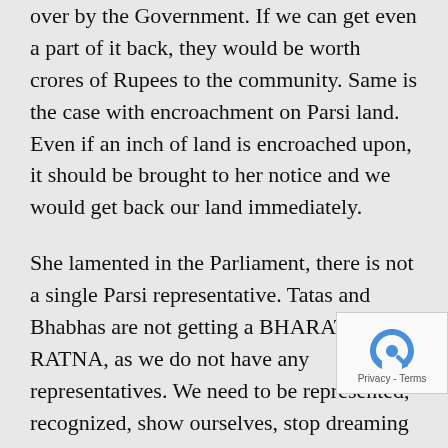over by the Government. If we can get even a part of it back, they would be worth crores of Rupees to the community. Same is the case with encroachment on Parsi land. Even if an inch of land is encroached upon, it should be brought to her notice and we would get back our land immediately.
She lamented in the Parliament, there is not a single Parsi representative. Tatas and Bhabhas are not getting a BHARAT RATNA, as we do not have any representatives. We need to be represented, recognized, show ourselves, stop dreaming and start acting and get into the Government fold and perhaps one day we might have a PARSI PRIME